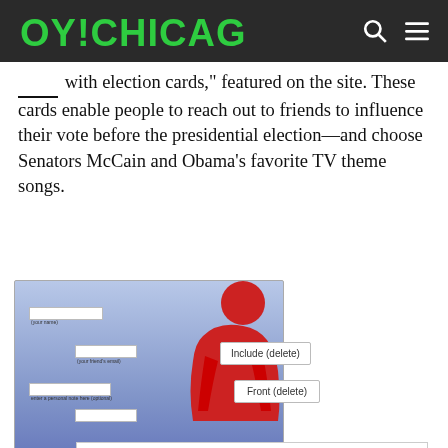OY!CHICAGO
____ with election cards," featured on the site. These cards enable people to reach out to friends to influence their vote before the presidential election—and choose Senators McCain and Obama's favorite TV theme songs.
[Figure (screenshot): Screenshot of election card UI showing a form with blue gradient background and red figure silhouette, overlaid with a letter card about Barack Obama running for President, with a 'Front (delete)' and 'Include (delete)' button visible. The letter contains fill-in-the-blank facts about Obama including his favorite state, important issues, and theme song.]